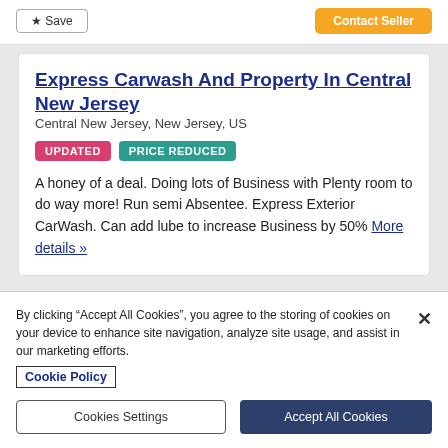Express Carwash And Property In Central New Jersey
Central New Jersey, New Jersey, US
UPDATED   PRICE REDUCED
A honey of a deal. Doing lots of Business with Plenty room to do way more! Run semi Absentee. Express Exterior CarWash. Can add lube to increase Business by 50% More details »
By clicking “Accept All Cookies”, you agree to the storing of cookies on your device to enhance site navigation, analyze site usage, and assist in our marketing efforts.
Cookie Policy
Cookies Settings   Accept All Cookies